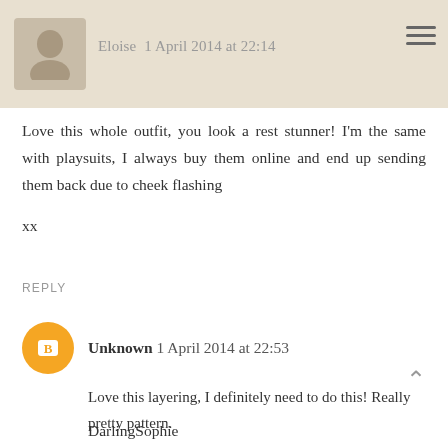Eloise 1 April 2014 at 22:14
Love this whole outfit, you look a rest stunner! I'm the same with playsuits, I always buy them online and end up sending them back due to cheek flashing

xx
REPLY
Unknown 1 April 2014 at 22:53
Love this layering, I definitely need to do this! Really pretty pattern.
DarlingSophie